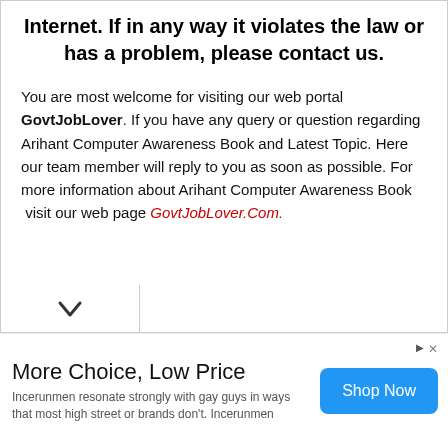Internet. If in any way it violates the law or has a problem, please contact us.
You are most welcome for visiting our web portal GovtJobLover. If you have any query or question regarding Arihant Computer Awareness Book and Latest Topic. Here our team member will reply to you as soon as possible. For more information about Arihant Computer Awareness Book  visit our web page GovtJobLover.Com.
[Figure (other): Chevron/down-arrow button in a white rounded bar at the bottom of main content area]
More Choice, Low Price
Incerunmen resonate strongly with gay guys in ways that most high street or brands don't. Incerunmen
Shop Now